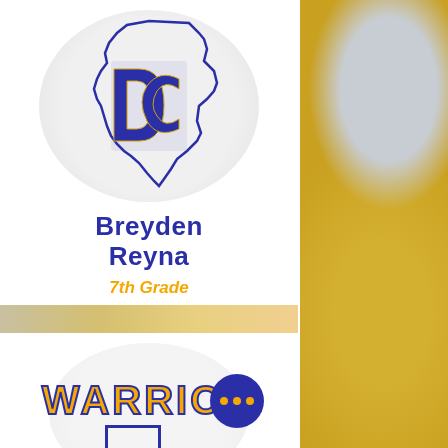[Figure (logo): School athletic logo: interlocked DC letters on Texas state outline, in navy blue with gold border, on circular light gray background]
Breyden Reyna
7th Grade
[Figure (photo): Partial photo strip showing student(s) in yellow/gold shirts, blurred background]
WARRIOR
[Figure (other): Blue circular button with three gold dots (ellipsis/more options button)]